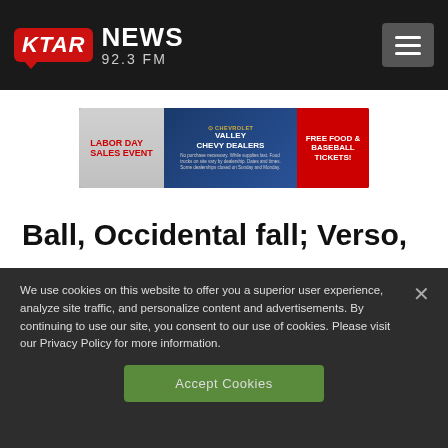KTAR NEWS 92.3 FM
[Figure (infographic): Labor Day Sales Event - Valley Chevy Dealers - Free Food & Baseball Tickets advertisement banner]
Ball, Occidental fall; Verso,
We use cookies on this website to offer you a superior user experience, analyze site traffic, and personalize content and advertisements. By continuing to use our site, you consent to our use of cookies. Please visit our Privacy Policy for more information.
Accept Cookies